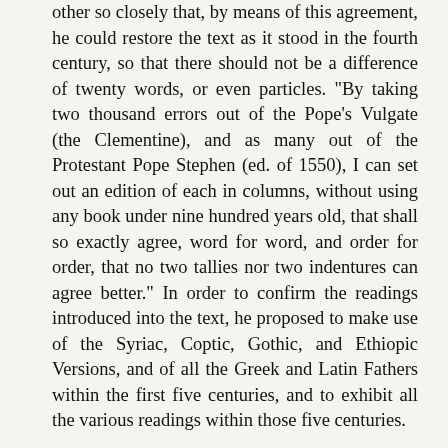other so closely that, by means of this agreement, he could restore the text as it stood in the fourth century, so that there should not be a difference of twenty words, or even particles. "By taking two thousand errors out of the Pope's Vulgate (the Clementine), and as many out of the Protestant Pope Stephen (ed. of 1550), I can set out an edition of each in columns, without using any book under nine hundred years old, that shall so exactly agree, word for word, and order for order, that no two tallies nor two indentures can agree better." In order to confirm the readings introduced into the text, he proposed to make use of the Syriac, Coptic, Gothic, and Ethiopic Versions, and of all the Greek and Latin Fathers within the first five centuries, and to exhibit all the various readings within those five centuries.
For the prosecution of this design it was necessary that the manuscripts of the Vulgate should be collated as carefully as those of the Greek Testament; and much work both in collection and collation was done by Bentley himself, and by his colleague, John Walker, in Paris, by Chevalier in Tours, and Casley in Oxford. Their collations are preserved in the Library of Trinity College, Cambridge.68 They are more on the Latin Vulgate than on the original Greek. The most valuable of the collations, that of B, was procured about 1720, at